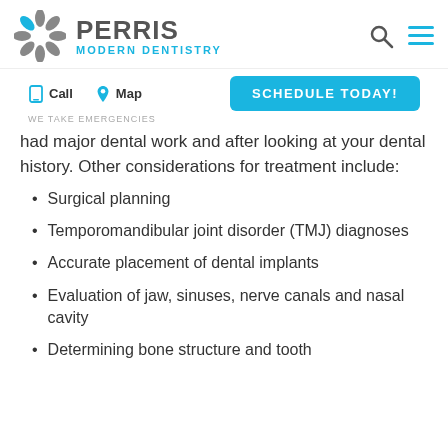[Figure (logo): Perris Modern Dentistry logo with gray starburst icon, gray PERRIS text, and cyan MODERN DENTISTRY tagline]
Call   Map   WE TAKE EMERGENCIES   SCHEDULE TODAY!
had major dental work and after looking at your dental history. Other considerations for treatment include:
Surgical planning
Temporomandibular joint disorder (TMJ) diagnoses
Accurate placement of dental implants
Evaluation of jaw, sinuses, nerve canals and nasal cavity
Determining bone structure and tooth